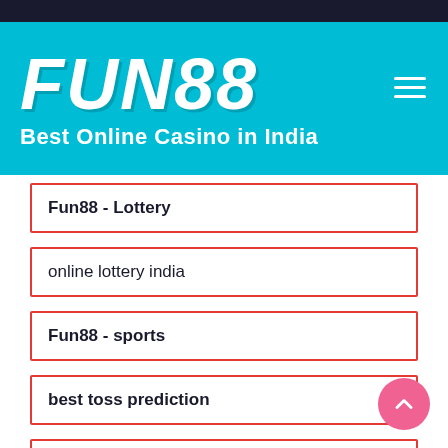[Figure (logo): FUN88 logo with cyan/turquoise background, white bold italic text, tagline 'Best Online Casino in India', hamburger menu icon top right]
Fun88 - Lottery
online lottery india
Fun88 - sports
best toss prediction
How to play poker